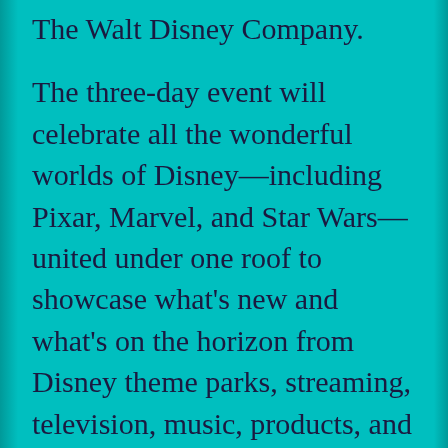The Walt Disney Company. The three-day event will celebrate all the wonderful worlds of Disney—including Pixar, Marvel, and Star Wars—united under one roof to showcase what's new and what's on the horizon from Disney theme parks, streaming, television, music, products, and films. D23 Expo 2022 will feature more than 50 shows, presentations, and panels, including the Disney Legends Awards Ceremony, which honors the talented individuals who have made significant contributions to the Disney legacy, as